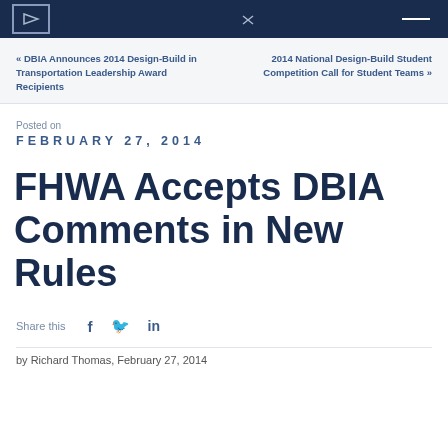DBIA header navigation bar
« DBIA Announces 2014 Design-Build in Transportation Leadership Award Recipients
2014 National Design-Build Student Competition Call for Student Teams »
Posted on
FEBRUARY 27, 2014
FHWA Accepts DBIA Comments in New Rules
Share this
by Richard Thomas, February 27, 2014